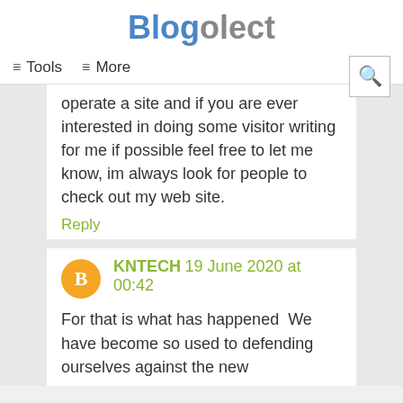Blogolect
≡ Tools   ≡ More
operate a site and if you are ever interested in doing some visitor writing for me if possible feel free to let me know, im always look for people to check out my web site.
Reply
KNTECH  19 June 2020 at 00:42
For that is what has happened  We have become so used to defending ourselves against the new